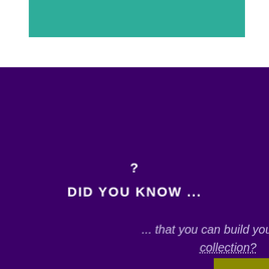[Figure (other): Teal colored banner bar at top of page on white background]
?
DID YOU KNOW ...
... that you can build your own m collection?
[Figure (other): Olive/yellow-green square box with white upward chevron arrow, used as a back-to-top navigation button]